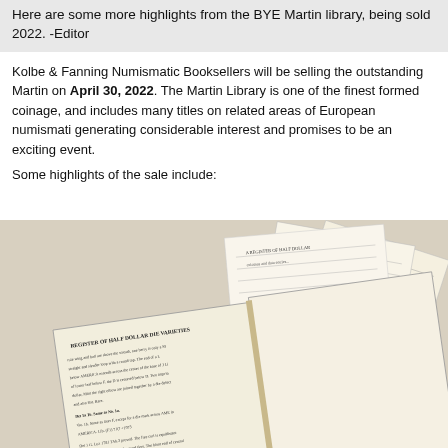Here are some more highlights from the BYE Martin library, being sold 2022. -Editor
Kolbe & Fanning Numismatic Booksellers will be selling the outstanding Martin on April 30, 2022. The Martin Library is one of the finest formed coinage, and includes many titles on related areas of European numismatic generating considerable interest and promises to be an exciting event.
Some highlights of the sale include:
[Figure (photo): Photograph of open antique numismatic reference books and handwritten manuscript pages fanned out, showing pages with text about half dollar die varieties and handwritten notes and tables.]